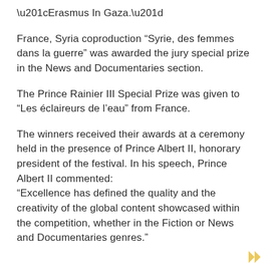“Erasmus In Gaza.”
France, Syria coproduction “Syrie, des femmes dans la guerre” was awarded the jury special prize in the News and Documentaries section.
The Prince Rainier III Special Prize was given to “Les éclaireurs de l’eau” from France.
The winners received their awards at a ceremony held in the presence of Prince Albert II, honorary president of the festival. In his speech, Prince Albert II commented: “Excellence has defined the quality and the creativity of the global content showcased within the competition, whether in the Fiction or News and Documentaries genres.”